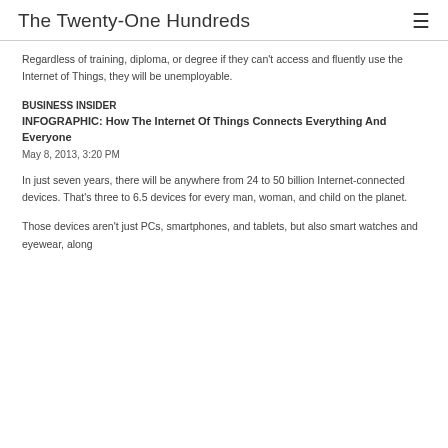The Twenty-One Hundreds
Regardless of training, diploma, or degree if they can't access and fluently use the Internet of Things, they will be unemployable.
BUSINESS INSIDER
INFOGRAPHIC: How The Internet Of Things Connects Everything And Everyone
May 8, 2013, 3:20 PM
In just seven years, there will be anywhere from 24 to 50 billion Internet-connected devices. That's three to 6.5 devices for every man, woman, and child on the planet.
Those devices aren't just PCs, smartphones, and tablets, but also smart watches and eyewear, along